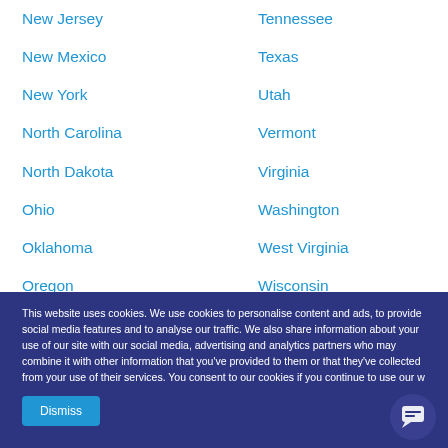New Jersey
New Mexico
New York
North Carolina
North Dakota
Ohio
Oklahoma
Oregon
Pennsylvania
Tennessee
Texas
Utah
Vermont
Virginia
Washington
West Virginia
Wisconsin
Wyoming
This website uses cookies. We use cookies to personalise content and ads, to provide social media features and to analyse our traffic. We also share information about your use of our site with our social media, advertising and analytics partners who may combine it with other information that you've provided to them or that they've collected from your use of their services. You consent to our cookies if you continue to use our w...